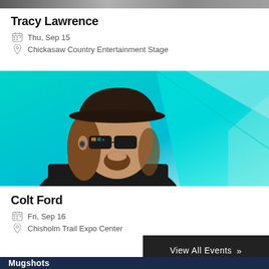[Figure (photo): Cropped top portion of an event listing photo (partial, top of page)]
Tracy Lawrence
Thu, Sep 15
Chickasaw Country Entertainment Stage
[Figure (photo): Photo of Colt Ford — man with long curly hair, dark cowboy hat, sunglasses, black shirt, against teal/cyan geometric background]
Colt Ford
Fri, Sep 16
Chisholm Trail Expo Center
View All Events »
Mugshots